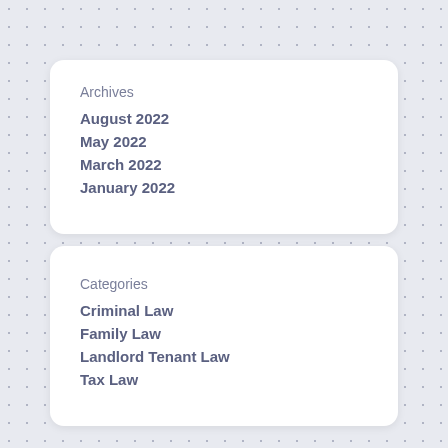Archives
August 2022
May 2022
March 2022
January 2022
Categories
Criminal Law
Family Law
Landlord Tenant Law
Tax Law